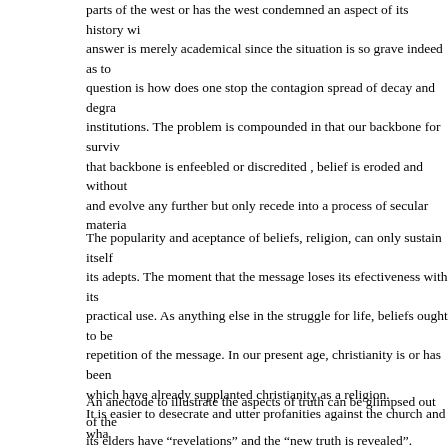parts of the west or has the west condemned an aspect of its history wh... answer is merely academical since the situation is so grave indeed as to... question is how does one stop the contagion spread of decay and degra... institutions. The problem is compounded in that our backbone for surviv... that backbone is enfeebled or discredited , belief is eroded and without ... and evolve any further but only recede into a process of secular materia...
The popularity and aceptance of beliefs, religion, can only sustain itself its adepts. The moment that the message loses its efectiveness with its practical use. As anything else in the struggle for life, beliefs ought to be repetition of the message. In our present age, christianity is or has been which have already supplanted christianity as a religion. It is easier to desecrate and utter profanities against the church and wha... criticism of say "democracy" or "human rights". The chruch is failing, dismally, in offering any meaningful resistance. Ma... any more ? Maybe the church has become a victim of the message car... questions but few answers, if any answers at all. The truth is one, yeste... not "evolve or develop" , neither it changes and "adapts to circumstance... dies, that conceptual truth is inviolable. Similarly a set of beliefs, true be... variable changes" to suit and adapt its beliefs with the advance of time a... has undegone "evolution' it means it was never the truth in the first plac...
An anectode to illustrate the aspects of truth can be glimpsed out of the its elders have "revelations" and the "new truth is revealed". Obviously t... purpose and it is the 'truth" to many adherents of this deviant form of ch...